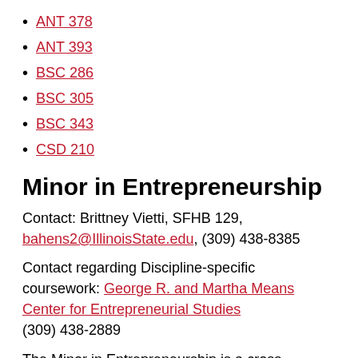ANT 378
ANT 393
BSC 286
BSC 305
BSC 343
CSD 210
Minor in Entrepreneurship
Contact: Brittney Vietti, SFHB 129, bahens2@IllinoisState.edu, (309) 438-8385
Contact regarding Discipline-specific coursework: George R. and Martha Means Center for Entrepreneurial Studies (309) 438-2889
The Minor in Entrepreneurship is a cross disciplinary approach to teaching basic